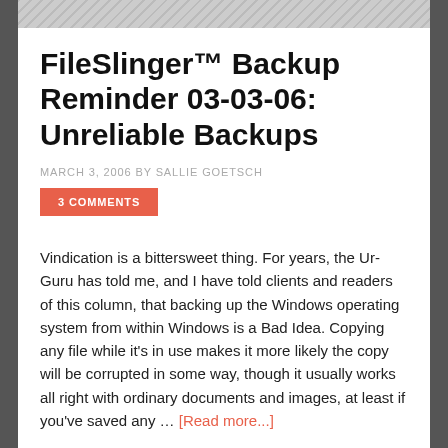FileSlinger™ Backup Reminder 03-03-06: Unreliable Backups
MARCH 3, 2006 BY SALLIE GOETSCH
3 COMMENTS
Vindication is a bittersweet thing. For years, the Ur-Guru has told me, and I have told clients and readers of this column, that backing up the Windows operating system from within Windows is a Bad Idea. Copying any file while it's in use makes it more likely the copy will be corrupted in some way, though it usually works all right with ordinary documents and images, at least if you've saved any … [Read more...]